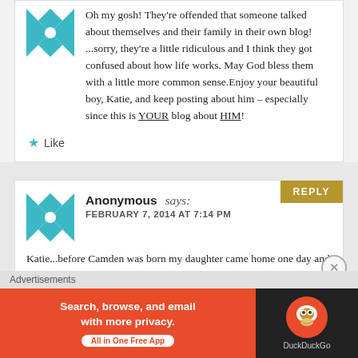Oh my gosh! They're offended that someone talked about themselves and their family in their own blog! ...sorry, they're a little ridiculous and I think they got confused about how life works. May God bless them with a little more common sense.Enjoy your beautiful boy, Katie, and keep posting about him – especially since this is YOUR blog about HIM!
★ Like
Anonymous says:
FEBRUARY 7, 2014 AT 7:14 PM
Katie...before Camden was born my daughter came home one day and told me about you and what you were facing...how you knew that he was going to be
Advertisements
Search, browse, and email with more privacy. All in One Free App
[Figure (logo): DuckDuckGo logo with duck icon on dark background]